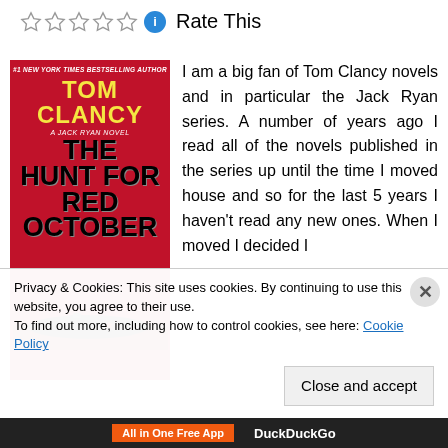[Figure (other): Five empty star rating icons followed by a blue info icon and 'Rate This' text]
[Figure (illustration): Book cover of 'The Hunt for Red October' by Tom Clancy — red background with bold yellow author name, black title text, submarine silhouette at bottom. Labeled '#1 New York Times Bestselling Author' and 'A Jack Ryan Novel'.]
I am a big fan of Tom Clancy novels and in particular the Jack Ryan series. A number of years ago I read all of the novels published in the series up until the time I moved house and so for the last 5 years I haven't read any new ones. When I moved I decided I
Privacy & Cookies: This site uses cookies. By continuing to use this website, you agree to their use.
To find out more, including how to control cookies, see here: Cookie Policy
[Figure (screenshot): Bottom browser bar showing 'All in One Free App' orange button and DuckDuckGo branding on dark background]